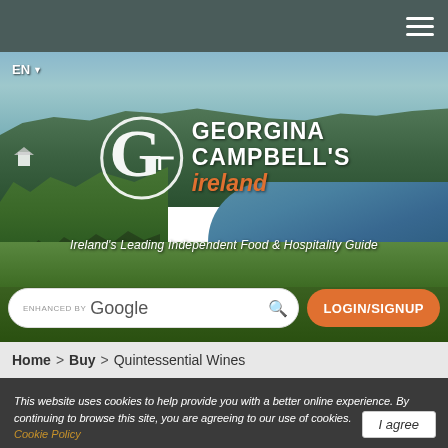Navigation bar with hamburger menu
[Figure (screenshot): Hero banner showing Irish countryside landscape with rolling green hills, water inlet, and cloudy sky. Georgina Campbell's Ireland logo overlay with 'G' circle design, white text 'GEORGINA CAMPBELL'S' and orange italic 'ireland'. Tagline reads 'Ireland's Leading Independent Food & Hospitality Guide'. Search box 'ENHANCED BY Google' and orange 'LOGIN/SIGNUP' button below.]
EN ▼
GEORGINA CAMPBELL'S ireland
Ireland's Leading Independent Food & Hospitality Guide
ENHANCED BY Google
LOGIN/SIGNUP
Home > Buy > Quintessential Wines
This website uses cookies to help provide you with a better online experience. By continuing to browse this site, you are agreeing to our use of cookies. Cookie Policy
I agree